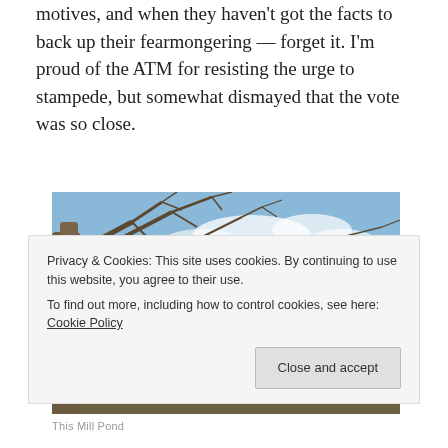motives, and when they haven't got the facts to back up their fearmongering — forget it. I'm proud of the ATM for resisting the urge to stampede, but somewhat dismayed that the vote was so close.
[Figure (photo): Outdoor landscape photo showing bare winter trees in the foreground with a pond or river in the middle ground, blue sky with light clouds, and shrubs and houses visible in the distance.]
Privacy & Cookies: This site uses cookies. By continuing to use this website, you agree to their use. To find out more, including how to control cookies, see here: Cookie Policy
Close and accept
This Mill Pond